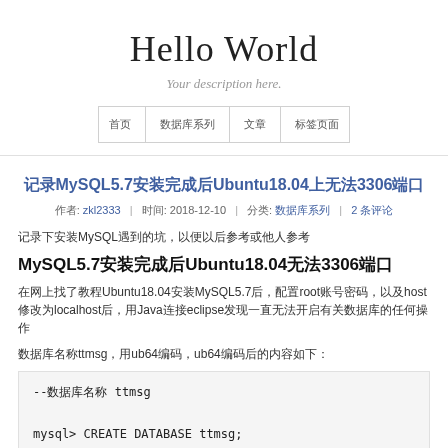Hello World
Your description here.
| 首页 | 数据库系列 | 文章 | 标签页面 |
| --- | --- | --- | --- |
记录MySQL5.7安装完成后Ubuntu18.04上无法3306端口
作者: zkl2333 | 时间: 2018-12-10 | 分类: 数据库系列 | 2 条评论
记录下安装MySQL遇到的坑，以便以后参考或他人参考
MySQL5.7安装完成后Ubuntu18.04无法3306端口
在网上找了教程Ubuntu18.04安装MySQL5.7后，配置root账号密码，以及host修改为localhost后，用Java连接eclipse发现一直无法开启有关数据库的任何操作
数据库名称ttmsg，用ub64编码，ub64编码后的内容如下：
--数据库名称 ttmsg

mysql> CREATE DATABASE ttmsg;